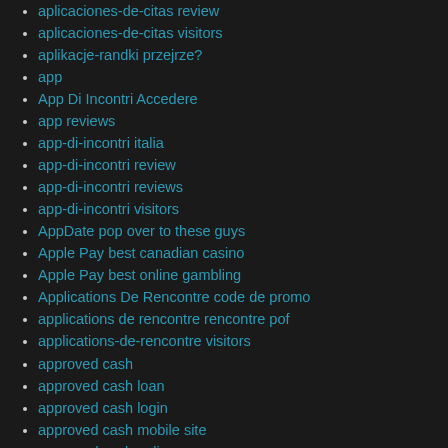aplicaciones-de-citas review
aplicaciones-de-citas visitors
aplikacje-randki przejrze?
app
App Di Incontri Accedere
app reviews
app-di-incontri italia
app-di-incontri review
app-di-incontri reviews
app-di-incontri visitors
AppDate pop over to these guys
Apple Pay best canadian casino
Apple Pay best online gambling
Applications De Rencontre code de promo
applications de rencontre rencontre pof
applications-de-rencontre visitors
approved cash
approved cash loan
approved cash login
approved cash mobile site
approved cash online
approved cash tulsa
approved pay day loan
approved payday loan
approved payday loans
Approved online casino